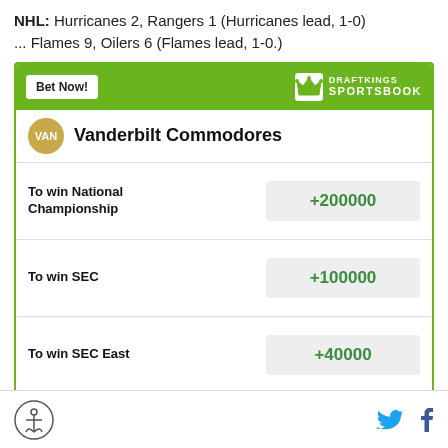NHL: Hurricanes 2, Rangers 1 (Hurricanes lead, 1-0) ... Flames 9, Oilers 6 (Flames lead, 1-0.)
| Bet Type | Odds |
| --- | --- |
| To win National Championship | +200000 |
| To win SEC | +100000 |
| To win SEC East | +40000 |
Odds/Lines subject to change. See draftkings.com for details.